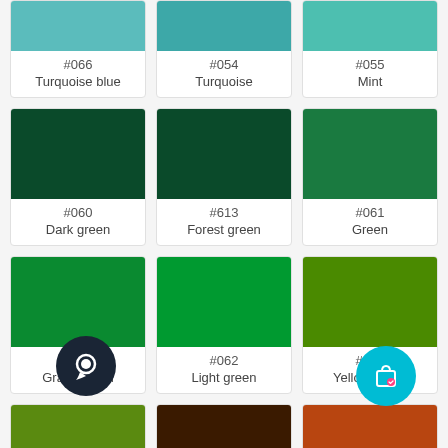[Figure (infographic): Color swatch grid showing thread/yarn colors. Top row (partial): #066 Turquoise blue, #054 Turquoise, #055 Mint with teal swatches. Second row: #060 Dark green, #613 Forest green, #061 Green with dark green swatches. Third row: #068 Grass green, #062 Light green, #064 Yellow green with bright green swatches. Bottom row (partial): unlabeled olive green, brown/chocolate, rust/orange swatches. Chat icon and shopping bag icon overlaid at bottom.]